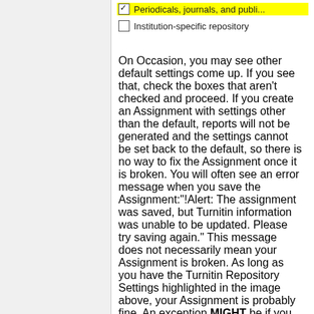[Figure (screenshot): Partial screenshot showing two checkbox rows: 'Periodicals, journals, and publi...' (highlighted/checked) and 'Institution-specific repository' (unchecked)]
On Occasion, you may see other default settings come up. If you see that, check the boxes that aren't checked and proceed. If you create an Assignment with settings other than the default, reports will not be generated and the settings cannot be set back to the default, so there is no way to fix the Assignment once it is broken. You will often see an error message when you save the Assignment:"!Alert: The assignment was saved, but Turnitin information was unable to be updated. Please try saving again." This message does not necessarily mean your Assignment is broken. As long as you have the Turnitin Repository Settings highlighted in the image above, your Assignment is probably fine. An exception MIGHT be if you change the Open Date, Due Date, or Accept Until Date in a published Assignment. These dates do communicate with Turnitin and so could cause the problem.